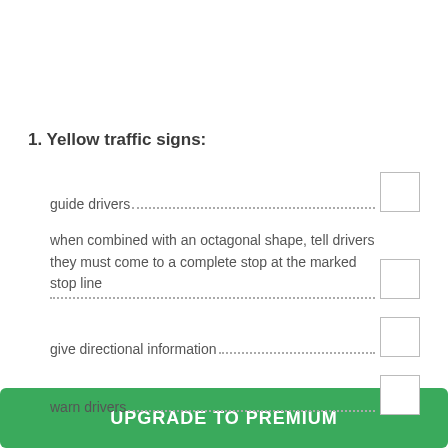1. Yellow traffic signs:
guide drivers...
when combined with an octagonal shape, tell drivers they must come to a complete stop at the marked stop line...
give directional information...
warn drivers
[Figure (other): UPGRADE TO PREMIUM green button overlay]
and other things if we include all text behind button